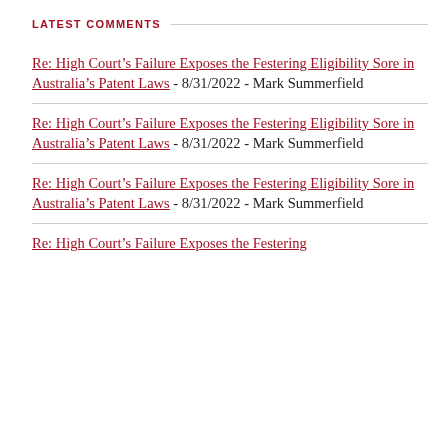LATEST COMMENTS
Re: High Court’s Failure Exposes the Festering Eligibility Sore in Australia’s Patent Laws - 8/31/2022 - Mark Summerfield
Re: High Court’s Failure Exposes the Festering Eligibility Sore in Australia’s Patent Laws - 8/31/2022 - Mark Summerfield
Re: High Court’s Failure Exposes the Festering Eligibility Sore in Australia’s Patent Laws - 8/31/2022 - Mark Summerfield
Re: High Court’s Failure Exposes the Festering